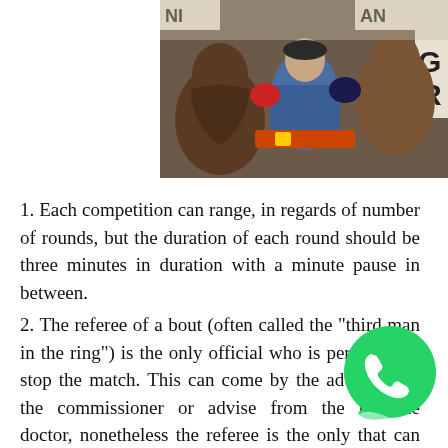[Figure (photo): Boxing match photo showing two shirtless fighters and a referee in a blue shirt intervening between them, with an audience and banner visible in the background.]
1. Each competition can range, in regards of number of rounds, but the duration of each round should be three minutes in duration with a minute pause in between.
2. The referee of a bout (often called the "third man in the ring") is the only official who is permitted to stop the match. This can come by the advice from the commissioner or advise from the ringside doctor, nonetheless the referee is the only that can stop the fight.
3. The bout is set and determined by three ringside judges.
[Figure (logo): WhatsApp green phone icon logo bubble in the bottom right corner, overlapping with a dark/black box.]